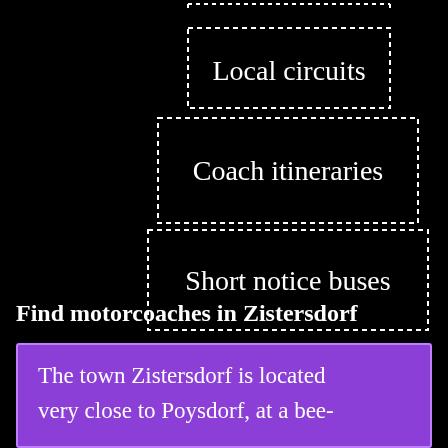[Figure (flowchart): Three stacked dotted-border boxes on black background: 'Local circuits' at top, 'Coach itineraries' in middle, 'Short notice buses' at bottom, representing a hierarchy or menu of transport options.]
Find motorcoaches in Zistersdorf
The town Zistersdorf is located very close to Poysdorf, at a bee-